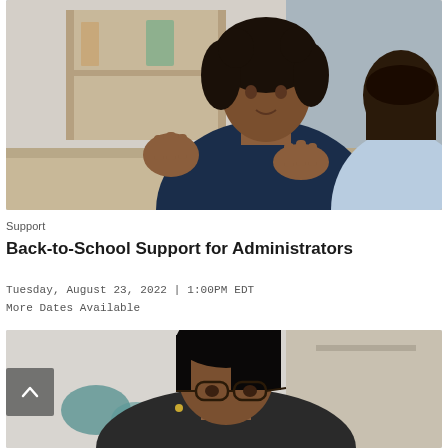[Figure (photo): Two women sitting at a table in conversation; the woman facing the camera has curly dark hair and is wearing a navy blue top, gesturing with both hands; the other woman has dark straight hair and is wearing a light blue top, seen from behind; wooden shelving in background]
Support
Back-to-School Support for Administrators
Tuesday, August 23, 2022 | 1:00PM EDT
More Dates Available
[Figure (photo): Woman with dark hair and glasses looking downward, appears to be working; partial view, cropped at bottom of page; blurred background with teal/blue objects]